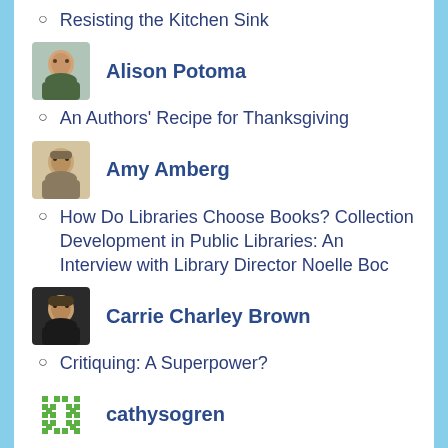Resisting the Kitchen Sink
[Figure (photo): Headshot of Alison Potoma]
Alison Potoma
An Authors' Recipe for Thanksgiving
[Figure (photo): Headshot of Amy Amberg]
Amy Amberg
How Do Libraries Choose Books? Collection Development in Public Libraries: An Interview with Library Director Noelle Boc
[Figure (photo): Headshot of Carrie Charley Brown]
Carrie Charley Brown
Critiquing: A Superpower?
[Figure (illustration): Green pixel/pattern avatar icon for cathysogren]
cathysogren
An Interview with Author Lanie Beinart